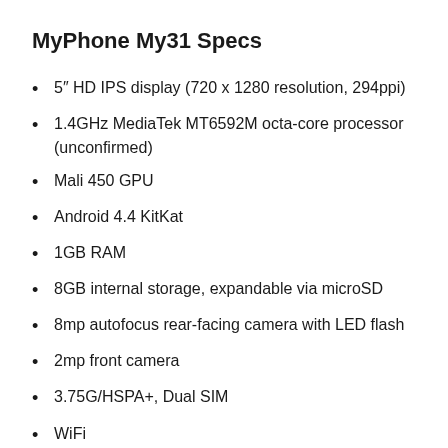MyPhone My31 Specs
5″ HD IPS display (720 x 1280 resolution, 294ppi)
1.4GHz MediaTek MT6592M octa-core processor (unconfirmed)
Mali 450 GPU
Android 4.4 KitKat
1GB RAM
8GB internal storage, expandable via microSD
8mp autofocus rear-facing camera with LED flash
2mp front camera
3.75G/HSPA+, Dual SIM
WiFi...